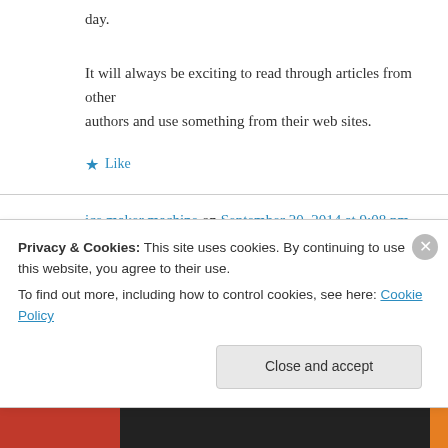day.
It will always be exciting to read through articles from other authors and use something from their web sites.
★ Like
ice maker machine on September 20, 2014 at 9:08 pm
Hurrah! At last I got a blog from where I can
Privacy & Cookies: This site uses cookies. By continuing to use this website, you agree to their use.
To find out more, including how to control cookies, see here: Cookie Policy
Close and accept